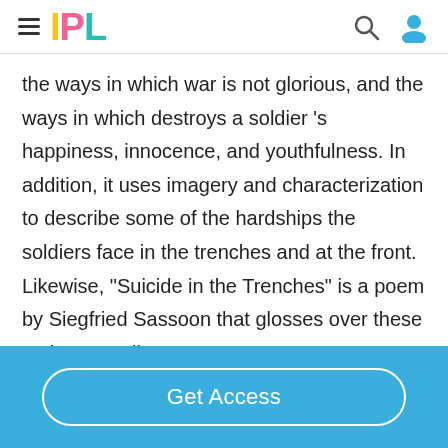IPL
the ways in which war is not glorious, and the ways in which destroys a soldier 's happiness, innocence, and youthfulness. In addition, it uses imagery and characterization to describe some of the hardships the soldiers face in the trenches and at the front. Likewise, "Suicide in the Trenches" is a poem by Siegfried Sassoon that glosses over these topics as well,
Get Access